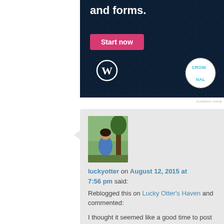[Figure (screenshot): Advertisement banner with dark navy dotted background. Text reads 'and forms.' in bold white. Pink 'Start now' button. WordPress logo (W in circle) bottom left. CrowdSignal logo (dashed circle) bottom right.]
ALREADY HAVE
[Figure (photo): Profile photo of a woman in a blue outfit leaning against a tree outdoors.]
luckyotter on August 12, 2015 at 7:56 pm said:
Reblogged this on Lucky Otter's Haven and commented:
I thought it seemed like a good time to post this again.